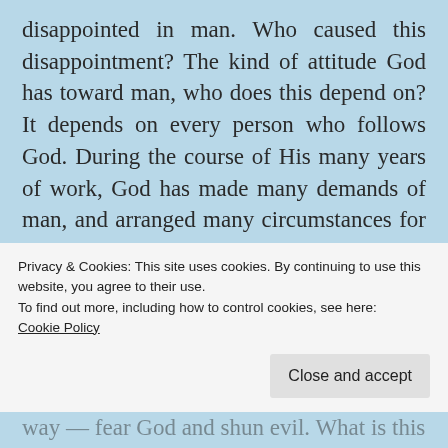disappointed in man. Who caused this disappointment? The kind of attitude God has toward man, who does this depend on? It depends on every person who follows God. During the course of His many years of work, God has made many demands of man, and arranged many circumstances for man. But no matter how man has performed, and no matter what man's attitude toward God is, man cannot practice in clear accordance to
Privacy & Cookies: This site uses cookies. By continuing to use this website, you agree to their use.
To find out more, including how to control cookies, see here:
Cookie Policy
way — fear God and shun evil. What is this